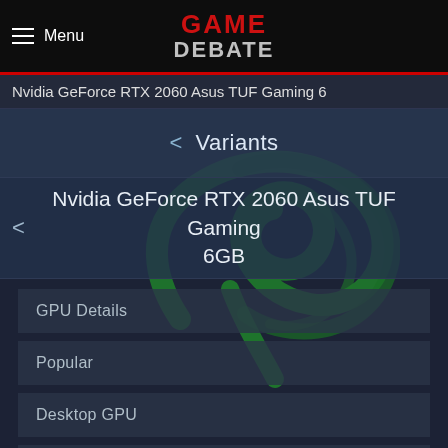Menu | GAME DEBATE
Nvidia GeForce RTX 2060 Asus TUF Gaming 6
< Variants
Nvidia GeForce RTX 2060 Asus TUF Gaming 6GB
GPU Details
Popular
Desktop GPU
Laptop GPU
New GPU